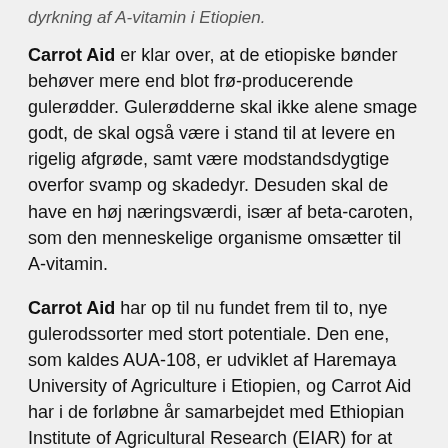Carrot Aid er klar over, at de etiopiske bønder behøver mere end blot frø-producerende gulerødder. Gulerødderne skal ikke alene smage godt, de skal også være i stand til at levere en rigelig afgrøde, samt være modstandsdygtige overfor svamp og skadedyr. Desuden skal de have en høj næringsværdi, især af beta-caroten, som den menneskelige organisme omsætter til A-vitamin.
Carrot Aid har op til nu fundet frem til to, nye gulerodssorter med stort potentiale. Den ene, som kaldes AUA-108, er udviklet af Haremaya University of Agriculture i Etiopien, og Carrot Aid har i de forløbne år samarbejdet med Ethiopian Institute of Agricultural Research (EIAR) for at teste denne sort i forhold til de almindeligt udbredte, kommercielle (ikke frø-producerende) sorter, som kontrol. Testen har vist, at AUA-108 præsterede bedre på alle parametre, og Carrot Aid står derfor nu for dyrkningen af den i et omfang, der vil resultere i 135 kg frø, som i de kommende måneder vil blive distribueret til 1200 bønder i Etiopien.